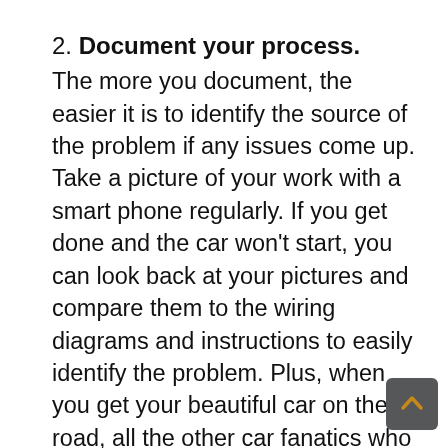2. Document your process. The more you document, the easier it is to identify the source of the problem if any issues come up. Take a picture of your work with a smart phone regularly. If you get done and the car won't start, you can look back at your pictures and compare them to the wiring diagrams and instructions to easily identify the problem. Plus, when you get your beautiful car on the road, all the other car fanatics who see it will want to pour over your pictures to geek out over them.